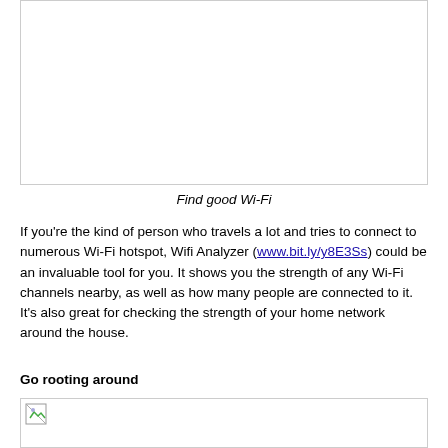[Figure (photo): Blank white image box at top of page]
Find good Wi-Fi
If you're the kind of person who travels a lot and tries to connect to numerous Wi-Fi hotspot, Wifi Analyzer (www.bit.ly/y8E3Ss) could be an invaluable tool for you. It shows you the strength of any Wi-Fi channels nearby, as well as how many people are connected to it. It's also great for checking the strength of your home network around the house.
Go rooting around
[Figure (photo): Blank white image box at bottom of page with small broken image icon]